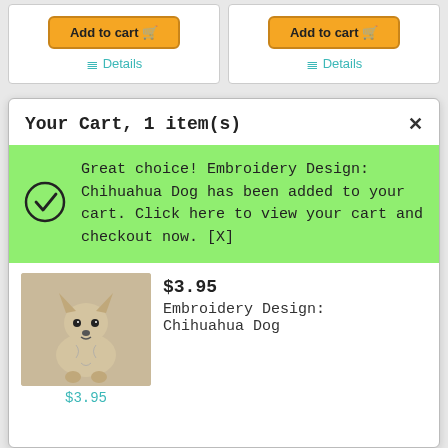[Figure (screenshot): Two product card tops with orange 'Add to cart' buttons and teal 'Details' links, partially visible at top of page.]
Your Cart, 1 item(s)
Great choice! Embroidery Design: Chihuahua Dog has been added to your cart. Click here to view your cart and checkout now. [X]
[Figure (photo): Photo of an embroidered Chihuahua dog on fabric background.]
$3.95
Embroidery Design: Chihuahua Dog
$3.95